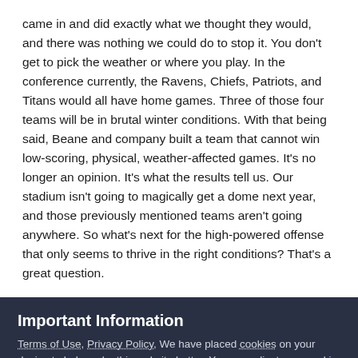came in and did exactly what we thought they would, and there was nothing we could do to stop it. You don't get to pick the weather or where you play. In the conference currently, the Ravens, Chiefs, Patriots, and Titans would all have home games. Three of those four teams will be in brutal winter conditions. With that being said, Beane and company built a team that cannot win low-scoring, physical, weather-affected games. It's no longer an opinion. It's what the results tell us. Our stadium isn't going to magically get a dome next year, and those previously mentioned teams aren't going anywhere. So what's next for the high-powered offense that only seems to thrive in the right conditions? That's a great question.
Important Information
Terms of Use, Privacy Policy, We have placed cookies on your device to help make this website better. You can adjust your cookie settings, otherwise we'll assume you're okay to continue., Guidelines
✓ I accept